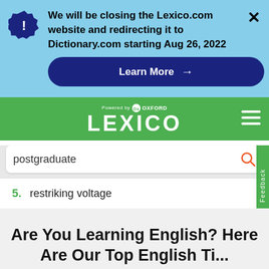We will be closing the Lexico.com website and redirecting it to Dictionary.com starting Aug 26, 2022
Learn More →
[Figure (screenshot): Lexico powered by Oxford logo in white on green navigation bar]
postgraduate
5. restriking voltage
Are You Learning English? Here Are Our Top English Ti...